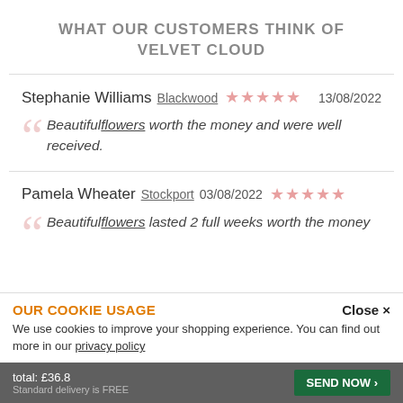WHAT OUR CUSTOMERS THINK OF VELVET CLOUD
Stephanie Williams  Blackwood  ★★★★★  13/08/2022
"Beautiful flowers worth the money and were well received."
Pamela Wheater  Stockport  03/08/2022  ★★★★★
"Beautiful flowers lasted 2 full weeks worth the money
OUR COOKIE USAGE  Close ×
We use cookies to improve your shopping experience. You can find out more in our privacy policy
total: £36.8
Standard delivery is FREE
SEND NOW ›